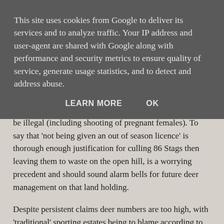This site uses cookies from Google to deliver its services and to analyze traffic. Your IP address and user-agent are shared with Google along with performance and security metrics to ensure quality of service, generate usage statistics, and to detect and address abuse.
LEARN MORE   OK
the holder to undertake something which would otherwise be illegal (including shooting of pregnant females). To say that 'not being given an out of season licence' is thorough enough justification for culling 86 Stags then leaving them to waste on the open hill, is a worrying precedent and should sound alarm bells for future deer management on that land holding.
Despite persistent claims deer numbers are too high, with 'traditional' sporting estates being to blame according to the Trust, deer are currently at 4 per square km at Li and Coirre Dhorcail. Professional deer managers would look to mitigate expediently if densities were at 20 per square km and, in West Knoydart in which Li and Coirre Dhorcail lies, densities are 13 per square km. Despite deer numbers being well below highland average, the Trust is still getting damage by deer. By choosing not to consult and work with neighbours, they have created a situation where deer are attracted